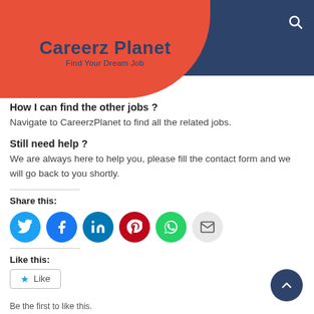Careerz Planet — Find Your Dream Job
appli...
How I can find the other jobs ?
Navigate to CareerzPlanet to find all the related jobs.
Still need help ?
We are always here to help you, please fill the contact form and we will go back to you shortly.
Share this:
[Figure (infographic): Social share buttons: Twitter (blue), Facebook (blue), LinkedIn (dark blue), Pinterest (red), WhatsApp (green), Email (gray)]
Like this:
Like
Be the first to like this.